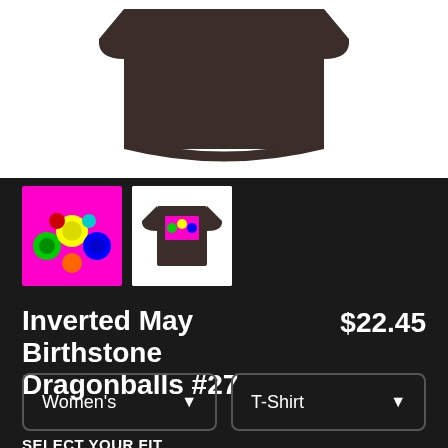[Figure (photo): Product image of a dark brown t-shirt on white background, cropped to show bottom half]
[Figure (photo): Thumbnail 1: bright magenta/pink background with colorful dragonball design]
[Figure (photo): Thumbnail 2: dark brown t-shirt with colorful dragonball graphic on white background]
Inverted May Birthstone Dragonballs #27
$22.45
Women's
T-Shirt
SELECT YOUR FIT